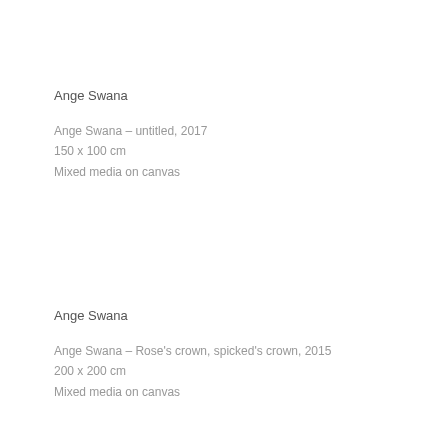Ange Swana
Ange Swana – untitled, 2017
150 x 100 cm
Mixed media on canvas
Ange Swana
Ange Swana – Rose's crown, spicked's crown, 2015
200 x 200 cm
Mixed media on canvas